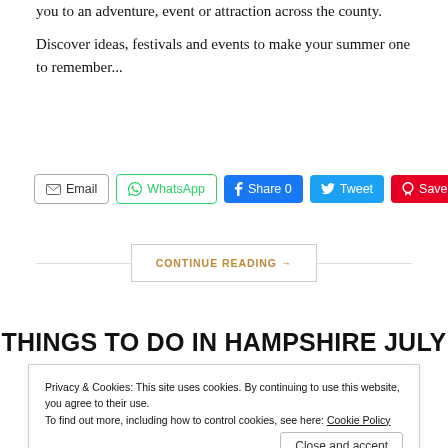you to an adventure, event or attraction across the county.
Discover ideas, festivals and events to make your summer one to remember...
Email | WhatsApp | Share 0 | Tweet | Save
CONTINUE READING →
THINGS TO DO IN HAMPSHIRE JULY
Privacy & Cookies: This site uses cookies. By continuing to use this website, you agree to their use.
To find out more, including how to control cookies, see here: Cookie Policy
Close and accept